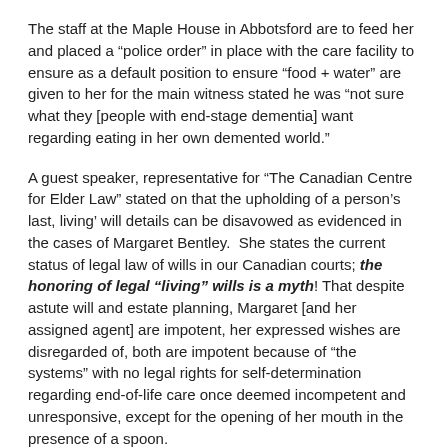The staff at the Maple House in Abbotsford are to feed her and placed a “police order” in place with the care facility to ensure as a default position to ensure “food + water” are given to her for the main witness stated he was “not sure what they [people with end-stage dementia] want regarding eating in her own demented world.”
A guest speaker, representative for “The Canadian Centre for Elder Law” stated on that the upholding of a person's last, living' will details can be disavowed as evidenced in the cases of Margaret Bentley.  She states the current status of legal law of wills in our Canadian courts; the honoring of legal “living” wills is a myth! That despite astute will and estate planning, Margaret [and her assigned agent] are impotent, her expressed wishes are disregarded of, both are impotent because of “the systems” with no legal rights for self-determination regarding end-of-life care once deemed incompetent and unresponsive, except for the opening of her mouth in the presence of a spoon.
The professional moral dilemma/ethics remain: to follow her wishes could result in professional charges of neglect [Guardian legislature] and the opposing argument is “spoon feeding is not a health care act but a matter of personal care.”  Medical decisions verses personal directives unresolved conflict that leaves this